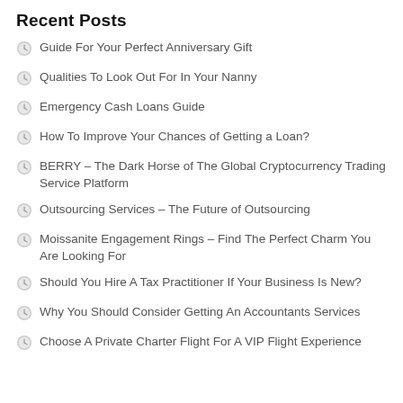Recent Posts
Guide For Your Perfect Anniversary Gift
Qualities To Look Out For In Your Nanny
Emergency Cash Loans Guide
How To Improve Your Chances of Getting a Loan?
BERRY – The Dark Horse of The Global Cryptocurrency Trading Service Platform
Outsourcing Services – The Future of Outsourcing
Moissanite Engagement Rings – Find The Perfect Charm You Are Looking For
Should You Hire A Tax Practitioner If Your Business Is New?
Why You Should Consider Getting An Accountants Services
Choose A Private Charter Flight For A VIP Flight Experience